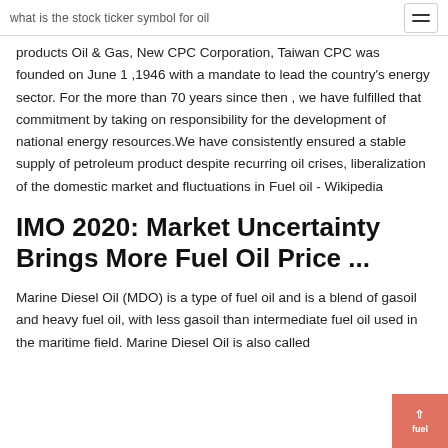what is the stock ticker symbol for oil
products Oil & Gas, New CPC Corporation, Taiwan CPC was founded on June 1 ,1946 with a mandate to lead the country's energy sector. For the more than 70 years since then , we have fulfilled that commitment by taking on responsibility for the development of national energy resources.We have consistently ensured a stable supply of petroleum product despite recurring oil crises, liberalization of the domestic market and fluctuations in Fuel oil - Wikipedia
IMO 2020: Market Uncertainty Brings More Fuel Oil Price ...
Marine Diesel Oil (MDO) is a type of fuel oil and is a blend of gasoil and heavy fuel oil, with less gasoil than intermediate fuel oil used in the maritime field. Marine Diesel Oil is also called